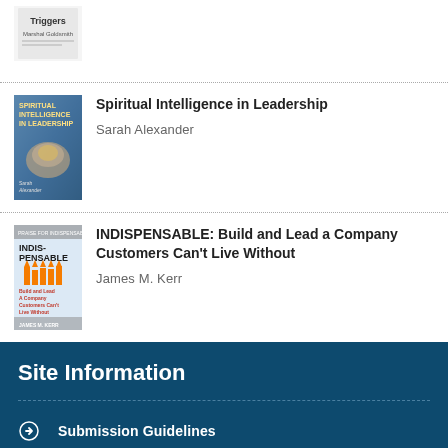[Figure (illustration): Partial book cover for 'Triggers' by Marshall Goldsmith, cropped at top]
[Figure (illustration): Book cover for 'Spiritual Intelligence in Leadership' by Sarah Alexander]
Spiritual Intelligence in Leadership
Sarah Alexander
[Figure (illustration): Book cover for 'INDISPENSABLE: Build and Lead a Company Customers Can't Live Without' by James M. Kerr]
INDISPENSABLE: Build and Lead a Company Customers Can't Live Without
James M. Kerr
Site Information
Submission Guidelines
About & Contacts